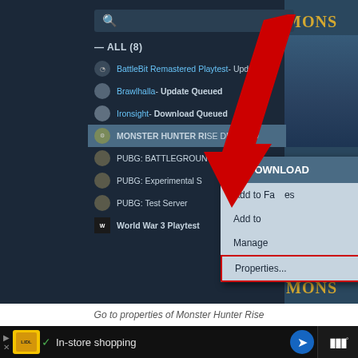[Figure (screenshot): Steam client screenshot showing a game library list with a right-click context menu open on MONSTER HUNTER RISE DEMO. The context menu shows options: DOWNLOAD, Add to Favorites, Add to, Manage, Properties... with Properties highlighted by a red border. A red arrow points down to Properties. The library shows games: BattleBit Remastered Playtest, Brawlhalla - Update Queued, Ironsight - Download Queued, MONSTER HUNTER RISE DEMO, PUBG: BATTLEGROUNDS, PUBG: Experimental S, PUBG: Test Server, World War 3 Playtest.]
Go to properties of Monster Hunter Rise
[Figure (screenshot): Advertisement banner showing Lidl app with 'In-store shopping' text and a blue navigation arrow button, plus another app icon on the right.]